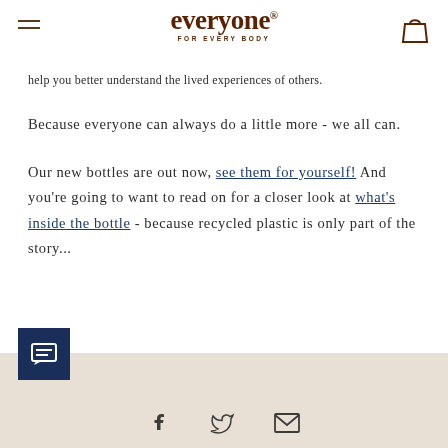everyone FOR EVERY BODY
help you better understand the lived experiences of others.
Because everyone can always do a little more - we all can.
Our new bottles are out now, see them for yourself! And you're going to want to read on for a closer look at what's inside the bottle - because recycled plastic is only part of the story...
Facebook, Twitter, Email social icons